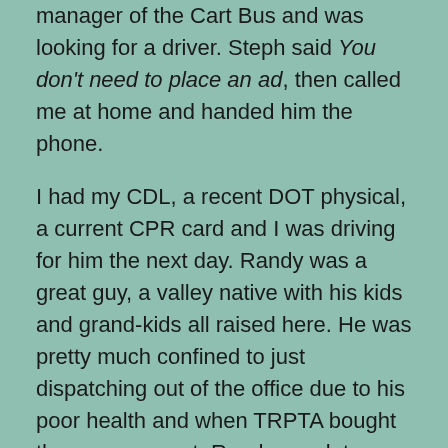manager of the Cart Bus and was looking for a driver. Steph said You don't need to place an ad, then called me at home and handed him the phone.

I had my CDL, a recent DOT physical, a current CPR card and I was driving for him the next day. Randy was a great guy, a valley native with his kids and grand-kids all raised here. He was pretty much confined to just dispatching out of the office due to his poor health and when TRPTA bought the company out, Randy was let go.

His quality of life rapidly declined and he was